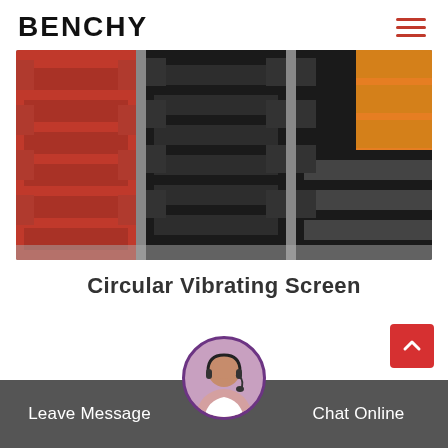BENCHY
[Figure (photo): Photo of industrial Circular Vibrating Screen machines stacked together, showing red, black, orange/yellow colored heavy equipment units]
Circular Vibrating Screen
Leave Message   Chat Online